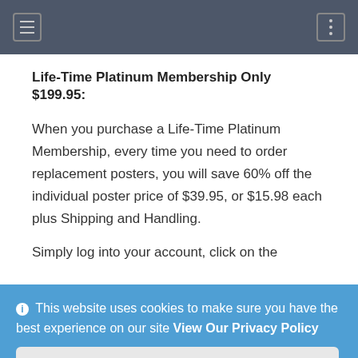Navigation bar with hamburger menu and dots menu
Life-Time Platinum Membership Only $199.95:
When you purchase a Life-Time Platinum Membership, every time you need to order replacement posters, you will save 60% off the individual poster price of $39.95, or $15.98 each plus Shipping and Handling.
Simply log into your account, click on the
This website uses cookies to make sure you have the best experience on our site View Our Privacy Policy
Got It